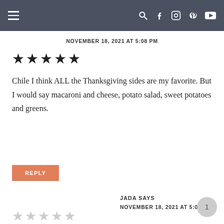Navigation bar with hamburger menu and social icons
NOVEMBER 18, 2021 AT 5:08 PM
★★★★★
Chile I think ALL the Thanksgiving sides are my favorite. But I would say macaroni and cheese, potato salad, sweet potatoes and greens.
REPLY
JADA SAYS
NOVEMBER 18, 2021 AT 5:09 PM
★★★★★ (empty stars)